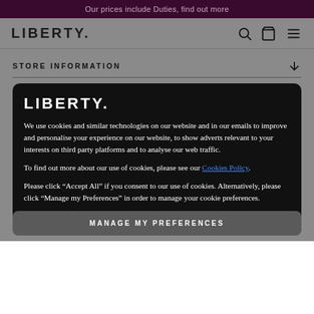Our prices include Duties, find out more
[Figure (logo): LIBERTY. brand logo in bold black text]
STORE INFORMATION
[Figure (logo): LIBERTY. brand logo in white text on dark background inside cookie consent modal]
We use cookies and similar technologies on our website and in our emails to improve and personalise your experience on our website, to show adverts relevant to your interests on third party platforms and to analyse our web traffic.
To find out more about our use of cookies, please see our Cookies Policy.
Please click “Accept All” if you consent to our use of cookies. Alternatively, please click “Manage my Preferences” in order to manage your cookie preferences.
MANAGE MY PREFERENCES